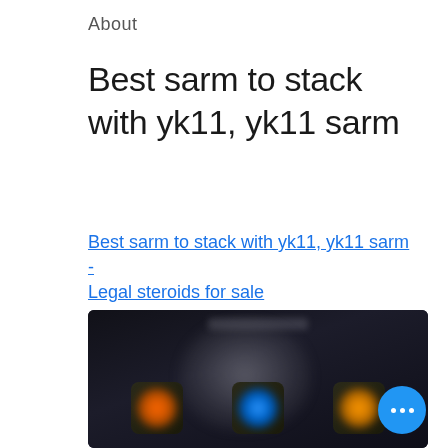About
Best sarm to stack with yk11, yk11 sarm
Best sarm to stack with yk11, yk11 sarm - Legal steroids for sale
[Figure (photo): A dark-themed blurred promotional image showing a bodybuilder silhouette with three product supplement bottles at the bottom, and a blue circular 'more options' button overlay at the bottom right.]